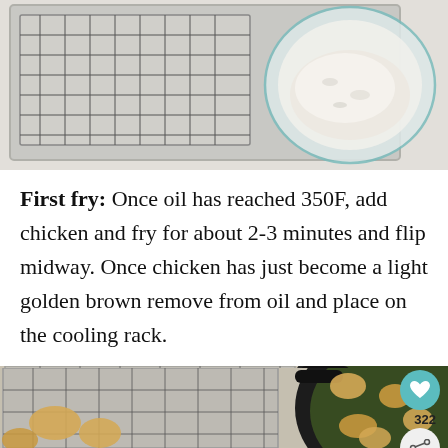[Figure (photo): Top-down view of a wire cooling rack on a baking sheet and a glass bowl filled with white flour/coating mixture, on a white marble surface.]
First fry: Once oil has reached 350F, add chicken and fry for about 2-3 minutes and flip midway. Once chicken has just become a light golden brown remove from oil and place on the cooling rack.
[Figure (photo): Top-down view of fried chicken pieces in a dark pan filled with oil, next to a wire cooling rack on a baking sheet with some cooked chicken pieces already resting on it. Social sharing UI overlaid with heart icon (322 likes), share button, and a 'What's Next' card showing Hawaiian Style Mochiko...]